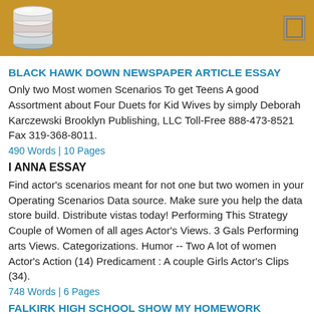[Figure (logo): Stack of coins/database logo on golden-brown header bar with menu icon]
BLACK HAWK DOWN NEWSPAPER ARTICLE ESSAY
Only two Most women Scenarios To get Teens A good Assortment about Four Duets for Kid Wives by simply Deborah Karczewski Brooklyn Publishing, LLC Toll-Free 888-473-8521 Fax 319-368-8011.
490 Words | 10 Pages
I ANNA ESSAY
Find actor's scenarios meant for not one but two women in your Operating Scenarios Data source. Make sure you help the data store build. Distribute vistas today! Performing This Strategy Couple of Women of all ages Actor's Views. 3 Gals Performing arts Views. Categorizations. Humor -- Two A lot of women Actor's Action (14) Predicament : A couple Girls Actor's Clips (34).
748 Words | 6 Pages
FALKIRK HIGH SCHOOL SHOW MY HOMEWORK